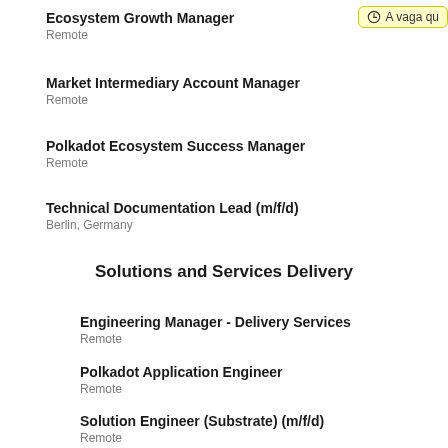Ecosystem Growth Manager
Remote
Market Intermediary Account Manager
Remote
Polkadot Ecosystem Success Manager
Remote
Technical Documentation Lead (m/f/d)
Berlin, Germany
Solutions and Services Delivery
Engineering Manager - Delivery Services
Remote
Polkadot Application Engineer
Remote
Solution Engineer (Substrate) (m/f/d)
Remote